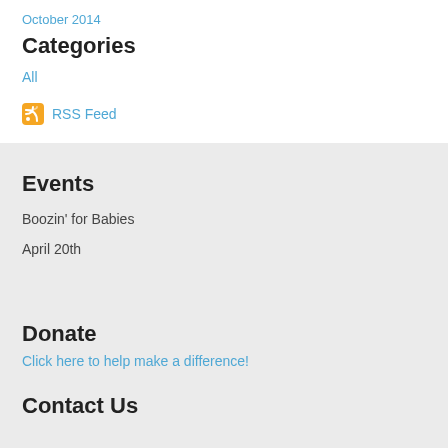October 2014
Categories
All
RSS Feed
Events
Boozin' for Babies
April 20th
Donate
Click here to help make a difference!
Contact Us